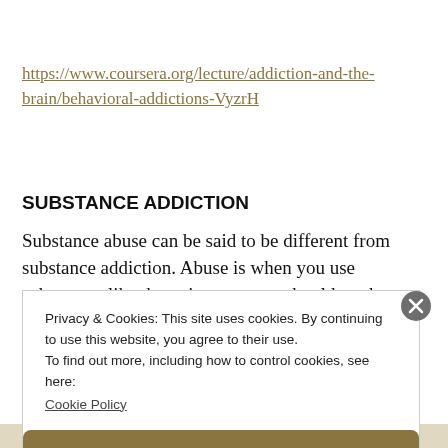https://www.coursera.org/lecture/addiction-and-the-brain/behavioral-addictions-VyzrH
SUBSTANCE ADDICTION
Substance abuse can be said to be different from substance addiction. Abuse is when you use substances like drugs in ways you should not but
Privacy & Cookies: This site uses cookies. By continuing to use this website, you agree to their use.
To find out more, including how to control cookies, see here:
Cookie Policy
Close and accept